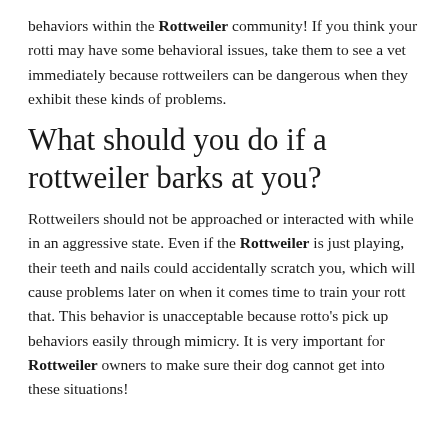behaviors within the Rottweiler community! If you think your rotti may have some behavioral issues, take them to see a vet immediately because rottweilers can be dangerous when they exhibit these kinds of problems.
What should you do if a rottweiler barks at you?
Rottweilers should not be approached or interacted with while in an aggressive state. Even if the Rottweiler is just playing, their teeth and nails could accidentally scratch you, which will cause problems later on when it comes time to train your rott that. This behavior is unacceptable because rotto’s pick up behaviors easily through mimicry. It is very important for Rottweiler owners to make sure their dog cannot get into these situations!